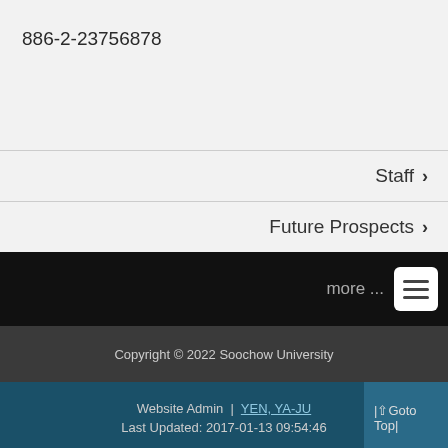886-2-23756878
Staff ›
Future Prospects ›
more ...
Copyright © 2022 Soochow University
Website Admin | YEN, YA-JU
Last Updated: 2017-01-13 09:54:46